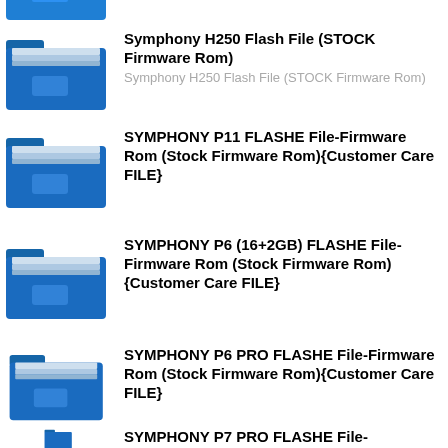[Figure (illustration): Blue folder icon (partially visible at top)]
Symphony H250 Flash File (STOCK Firmware Rom)
Symphony H250 Flash File (STOCK Firmware Rom)
SYMPHONY P11 FLASHE File-Firmware Rom (Stock Firmware Rom){Customer Care FILE}
SYMPHONY P6 (16+2GB) FLASHE File-Firmware Rom (Stock Firmware Rom){Customer Care FILE}
SYMPHONY P6 PRO FLASHE File-Firmware Rom (Stock Firmware Rom){Customer Care FILE}
SYMPHONY P7 PRO FLASHE File-